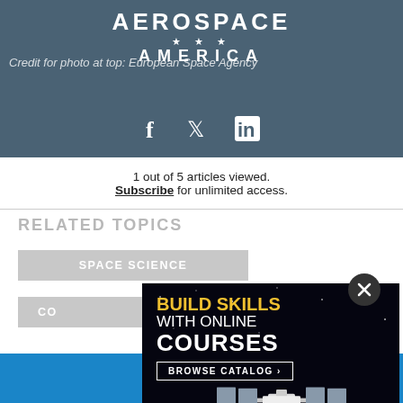AEROSPACE AMERICA
Credit for photo at top: European Space Agency
1 out of 5 articles viewed. Subscribe for unlimited access.
RELATED TOPICS
SPACE SCIENCE
CO
[Figure (screenshot): AIAA online courses advertisement overlay with 'BUILD SKILLS WITH ONLINE COURSES' text, BROWSE CATALOG button, ISS image, and AIAA logo on blue bar]